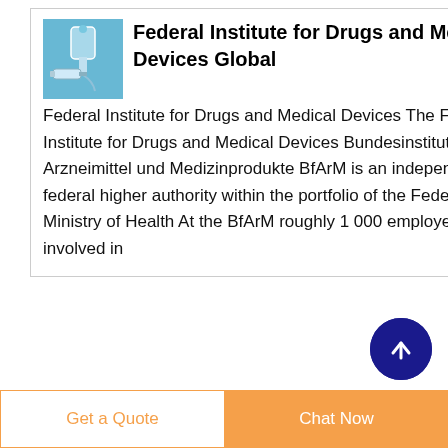[Figure (photo): Medical/pharmaceutical equipment photo used as logo for Federal Institute for Drugs and Medical Devices]
Federal Institute for Drugs and Medical Devices Global
Federal Institute for Drugs and Medical Devices The Federal Institute for Drugs and Medical Devices Bundesinstitut für Arzneimittel und Medizinprodukte BfArM is an independent federal higher authority within the portfolio of the Federal Ministry of Health At the BfArM roughly 1 000 employees are involved in